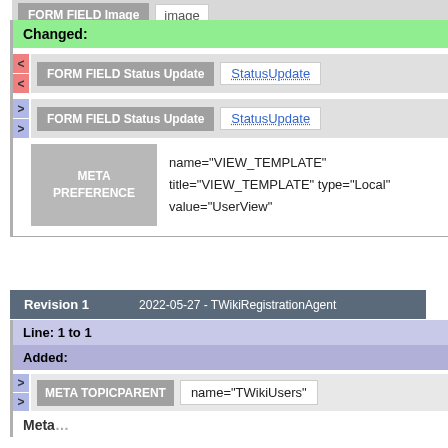FORM FIELD Image   image
Changed:
< FORM FIELD Status Update   StatusUpdate
> FORM FIELD Status Update   StatusUpdate
| META PREFERENCE | name="VIEW_TEMPLATE" title="VIEW_TEMPLATE" type="Local" value="UserView" |
| --- | --- |
Revision 1   2022-05-27 - TWikiRegistrationAgent
Line: 1 to 1
Added:
> META TOPICPARENT   name="TWikiUsers"
Meta...